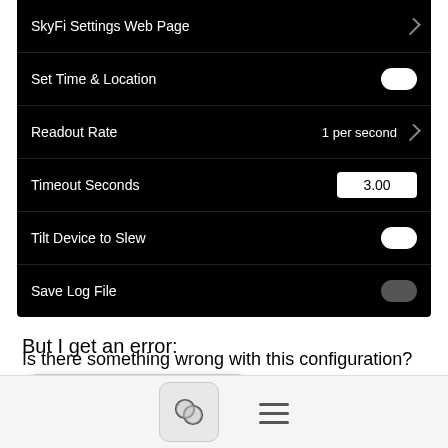[Figure (screenshot): iOS settings screen (dark background) showing: SkyFi Settings Web Page row with chevron, Set Time & Location row with white toggle ON, Readout Rate row showing '1 per second' with chevron, Timeout Seconds row with value '3.00' in text box, Tilt Device to Slew row with white toggle ON, Save Log File row with dark toggle OFF]
But I get an error:
[Figure (screenshot): iOS dialog screenshot showing 'Connection Failure' title and message: 'SkySafari 6 Pro can make a wireless network connection to the scope, but the scope is not responding. Make sure it is connected and powered on. Also check that your scope type is correct.' with OK button.]
Is there something wrong with this configuration?